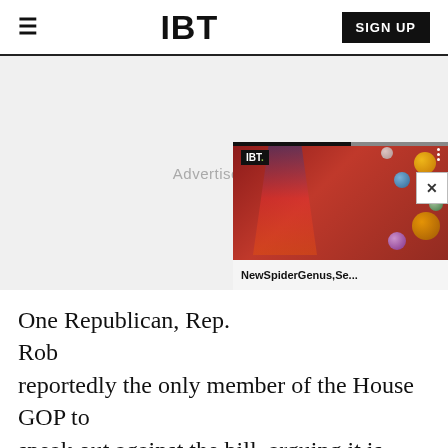IBT
[Figure (screenshot): Advertisement placeholder area with IBT video widget overlay showing a colorful image (David Bowie-style face paint with planets) and title 'NewSpiderGenus,Se...']
One Republican, Rep. Rob reportedly the only member of the House GOP to speak out against the bill, arguing it is unnecessary